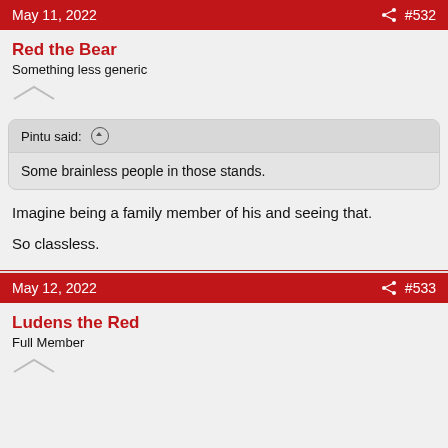May 11, 2022   #532
Red the Bear
Something less generic
Pintu said: ↑
Some brainless people in those stands.
Imagine being a family member of his and seeing that.
So classless.
May 12, 2022   #533
Ludens the Red
Full Member